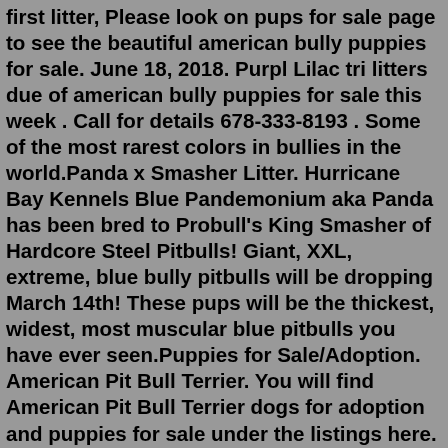first litter, Please look on pups for sale page to see the beautiful american bully puppies for sale. June 18, 2018. Purpl Lilac tri litters due of american bully puppies for sale this week . Call for details 678-333-8193 . Some of the most rarest colors in bullies in the world.Panda x Smasher Litter. Hurricane Bay Kennels Blue Pandemonium aka Panda has been bred to Probull's King Smasher of Hardcore Steel Pitbulls! Giant, XXL, extreme, blue bully pitbulls will be dropping March 14th! These pups will be the thickest, widest, most muscular blue pitbulls you have ever seen.Puppies for Sale/Adoption. American Pit Bull Terrier. You will find American Pit Bull Terrier dogs for adoption and puppies for sale under the listings here. However, free Pit Bull Terrier dogs and puppies are a rarity as rescues usually charge a small adoption fee to cover their expenses (usually less than $200).Dog Group: Miscellaneous Size: 13-21 inches tall, 70-120 lbs Lifespan: 8-12 years Energy Level: Medium Coat: Short, glossy, and stiff Shedding: Moderate Hypoallergenic: No. History: The American